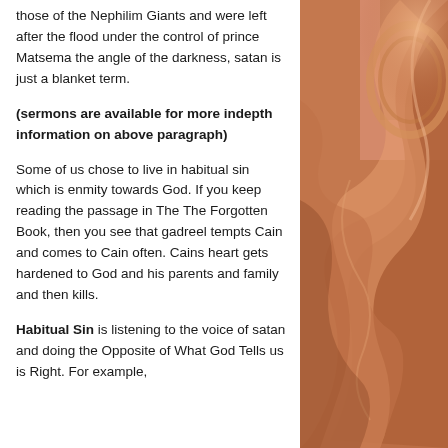those of the Nephilim Giants and were left after the flood under the control of prince Matsema the angle of the darkness, satan is just a blanket term.
(sermons are available for more indepth information on above paragraph)
Some of us chose to live in habitual sin which is enmity towards God. If you keep reading the passage in The The Forgotten Book, then you see that gadreel tempts Cain and comes to Cain often. Cains heart gets hardened to God and his parents and family and then kills.
Habitual Sin is listening to the voice of satan and doing the Opposite of What God Tells us is Right. For example,
[Figure (illustration): Warm-toned artistic illustration with swirling amber, orange, and brown curved forms suggesting fabric or a heavenly/spiritual scene.]